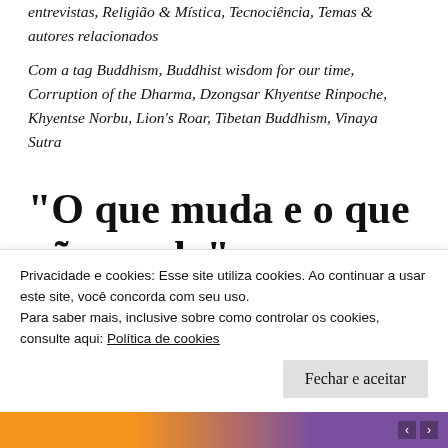entrevistas, Religião & Mística, Tecnociência, Temas & autores relacionados
Com a tag Buddhism, Buddhist wisdom for our time, Corruption of the Dharma, Dzongsar Khyentse Rinpoche, Khyentse Norbu, Lion's Roar, Tibetan Buddhism, Vinaya Sutra
“O que muda e o que não muda”: entrevista com Dzongsar Khyentse Rinpoche
Privacidade e cookies: Esse site utiliza cookies. Ao continuar a usar este site, você concorda com seu uso.
Para saber mais, inclusive sobre como controlar os cookies, consulte aqui: Política de cookies
Fechar e aceitar